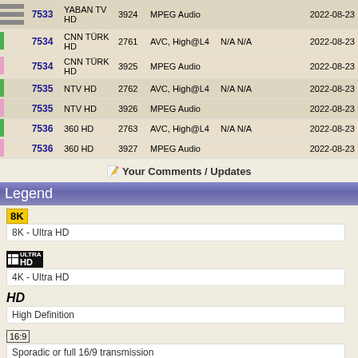|  | ID | Name | PID | Codec | Info | Date |
| --- | --- | --- | --- | --- | --- | --- |
| indicator | 7533 | YABAN TV HD | 3924 | MPEG Audio |  | 2022-08-23 |
| indicator | 7534 | CNN TÜRK HD | 2761 | AVC, High@L4 | N/A N/A | 2022-08-23 |
| indicator | 7534 | CNN TÜRK HD | 3925 | MPEG Audio |  | 2022-08-23 |
| indicator | 7535 | NTV HD | 2762 | AVC, High@L4 | N/A N/A | 2022-08-23 |
| indicator | 7535 | NTV HD | 3926 | MPEG Audio |  | 2022-08-23 |
| indicator | 7536 | 360 HD | 2763 | AVC, High@L4 | N/A N/A | 2022-08-23 |
| indicator | 7536 | 360 HD | 3927 | MPEG Audio |  | 2022-08-23 |
📝 Your Comments / Updates
Legend
[Figure (other): 8K badge - yellow background with bold black text '8K']
8K - Ultra HD
[Figure (other): 4K Ultra HD badge - black background with grid icon and 'HD' text]
4K - Ultra HD
[Figure (other): HD badge - bold italic black text 'HD']
High Definition
[Figure (other): 16:9 badge - bordered box with text '16:9']
Sporadic or full 16/9 transmission